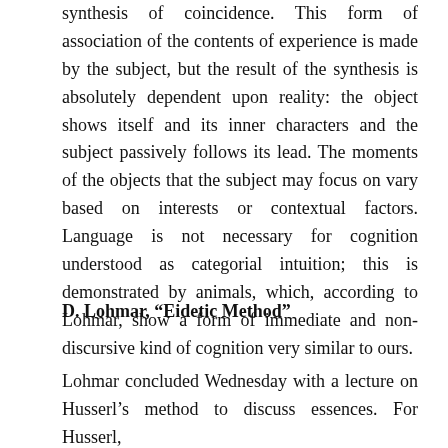synthesis of coincidence. This form of association of the contents of experience is made by the subject, but the result of the synthesis is absolutely dependent upon reality: the object shows itself and its inner characters and the subject passively follows its lead. The moments of the objects that the subject may focus on vary based on interests or contextual factors. Language is not necessary for cognition understood as categorial intuition; this is demonstrated by animals, which, according to Lohmar, show a form of immediate and non-discursive kind of cognition very similar to ours.
D. Lohmar, “Eidetic Method”
Lohmar concluded Wednesday with a lecture on Husserl’s method to discuss essences. For Husserl,